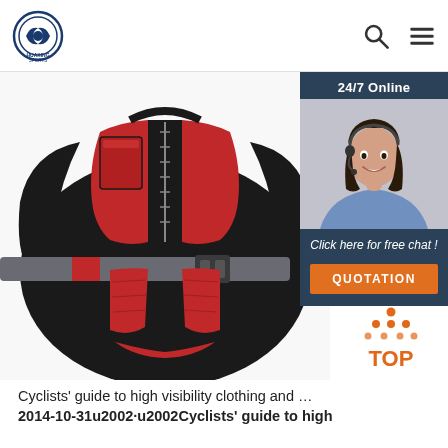HUAXING SPORTS
[Figure (photo): Red and black life jacket / buoyancy aid with grey waist strap and buckle, shown on white background]
[Figure (infographic): 24/7 Online chat widget with photo of female customer support agent wearing headset, 'Click here for free chat!' text, and orange QUOTATION button]
[Figure (infographic): Orange TOP button with upward-pointing triangle dots icon]
Cyclists' guide to high visibility clothing and … 2014-10-31u2002·u2002Cyclists' guide to high